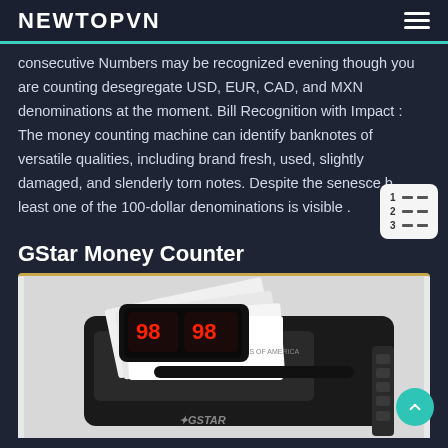NEWTOPVN
consecutive Numbers may be recognized evening though you are counting desegregate USD, EUR, CAD, and MXN denominations at the moment. Bill Recognition with Impact : The money counting machine can identify banknotes of versatile qualities, including brand fresh, used, slightly damaged, and slenderly torn notes. Despite the senesce b least one of the 100-dollar denominations is visible .
GStar Money Counter
[Figure (photo): GStar money counter machine with digital display showing '98', counting dollar bills. The machine is black with buttons on the right side and the GSTAR logo visible.]